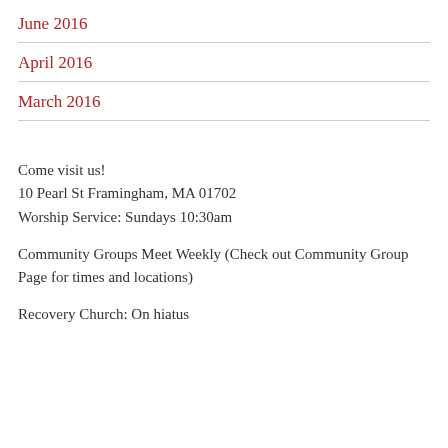June 2016
April 2016
March 2016
Come visit us!
10 Pearl St Framingham, MA 01702
Worship Service: Sundays 10:30am
Community Groups Meet Weekly (Check out Community Group Page for times and locations)
Recovery Church: On hiatus